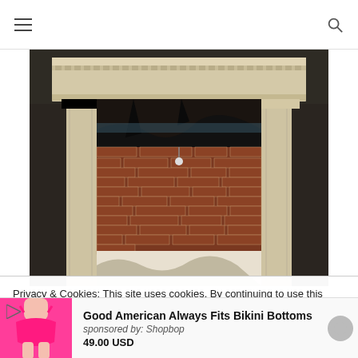Navigation header with hamburger menu and search icon
[Figure (photo): Interior doorway with ornate white/cream molding frame surrounded by a damaged building interior showing exposed brick wall and collapsed ceiling structure beyond the doorframe]
Privacy & Cookies: This site uses cookies. By continuing to use this website, you agree to their use.
To find out more, including how to control cookies, see here: Cookie
Good American Always Fits Bikini Bottoms
sponsored by: Shopbop
49.00 USD